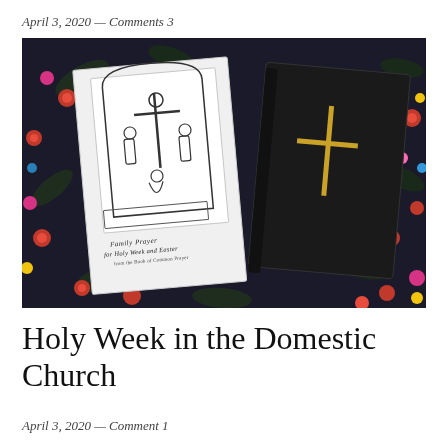April 3, 2020 — Comments 3
[Figure (photo): Photo of two books on a dark floral fabric background. On the left is a white booklet titled 'Family Prayer for Holy Week and Easter from the Book of Common Prayer' with a black-and-white illustration of the Crucifixion with figures around the cross. On the right is a black hardcover book with a gold cross on its cover.]
Holy Week in the Domestic Church
April 3, 2020 — Comment 1